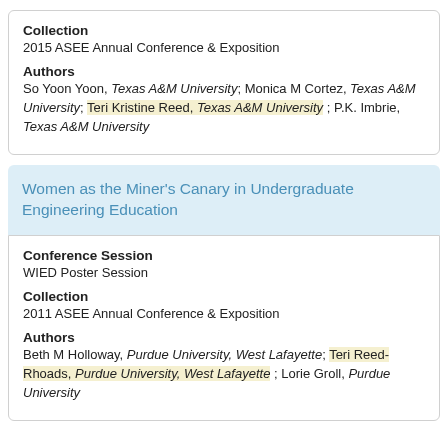Collection
2015 ASEE Annual Conference & Exposition
Authors
So Yoon Yoon, Texas A&M University; Monica M Cortez, Texas A&M University; Teri Kristine Reed, Texas A&M University; P.K. Imbrie, Texas A&M University
Women as the Miner's Canary in Undergraduate Engineering Education
Conference Session
WIED Poster Session
Collection
2011 ASEE Annual Conference & Exposition
Authors
Beth M Holloway, Purdue University, West Lafayette; Teri Reed-Rhoads, Purdue University, West Lafayette; Lorie Groll, Purdue University